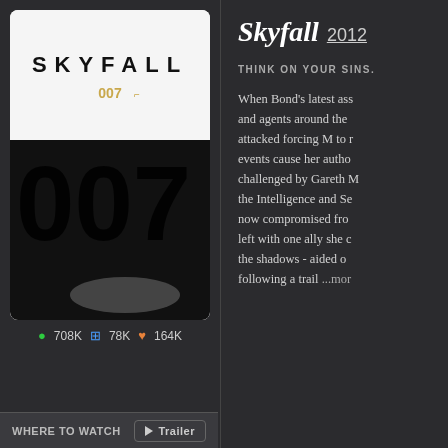[Figure (photo): Skyfall 007 movie poster showing Daniel Craig as James Bond holding a gun with large '007' typography in black and white]
👁 708K  ⊞ 78K  ♥ 164K
WHERE TO WATCH  ▶ Trailer
Skyfall 2012
THINK ON YOUR SINS.
When Bond's latest ass... and agents around the... attacked forcing M to r... events cause her autho... challenged by Gareth M... the Intelligence and Se... now compromised fro... left with one ally she c... the shadows - aided o... following a trail ...mor